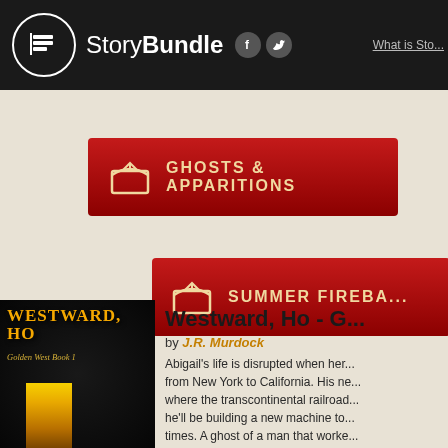StoryBundle
[Figure (screenshot): StoryBundle website screenshot showing navigation header with logo, social icons, two red bundle buttons (GHOSTS & APPARITIONS, SUMMER FIREBA...), and a book detail section for 'Westward, Ho - G...' by J.R. Murdock]
GHOSTS & APPARITIONS
SUMMER FIREBA...
Westward, Ho - G...
by J.R. Murdock
Abigail's life is disrupted when her... from New York to California. His ne... where the transcontinental railroad... he'll be building a new machine to... times. A ghost of a man that worke...